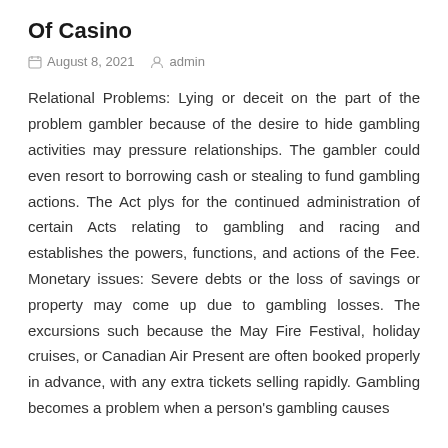Of Casino
August 8, 2021   admin
Relational Problems: Lying or deceit on the part of the problem gambler because of the desire to hide gambling activities may pressure relationships. The gambler could even resort to borrowing cash or stealing to fund gambling actions. The Act plys for the continued administration of certain Acts relating to gambling and racing and establishes the powers, functions, and actions of the Fee. Monetary issues: Severe debts or the loss of savings or property may come up due to gambling losses. The excursions such because the May Fire Festival, holiday cruises, or Canadian Air Present are often booked properly in advance, with any extra tickets selling rapidly. Gambling becomes a problem when a person's gambling causes